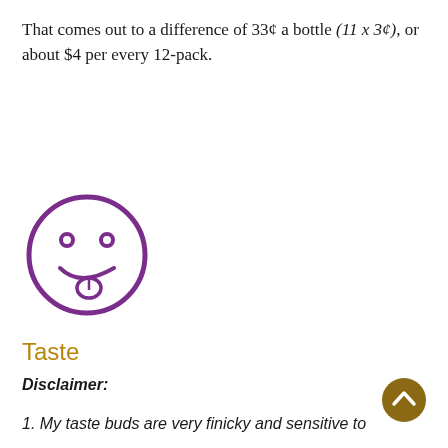That comes out to a difference of 33¢ a bottle (11 x 3¢), or about $4 per every 12-pack.
[Figure (illustration): Purple outlined smiley face emoji with tongue sticking out]
Taste
Disclaimer:
1. My taste buds are very finicky and sensitive to